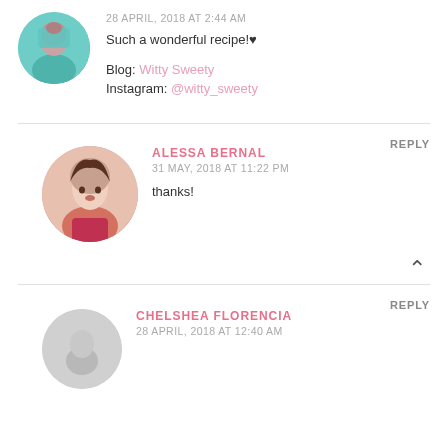28 APRIL, 2018 AT 2:44 AM
Such a wonderful recipe!♥
Blog: Witty Sweety
Instagram: @witty_sweety
REPLY
ALESSA BERNAL
31 MAY, 2018 AT 11:22 PM
thanks!
REPLY
CHELSHEA FLORENCIA
28 APRIL, 2018 AT 12:40 AM